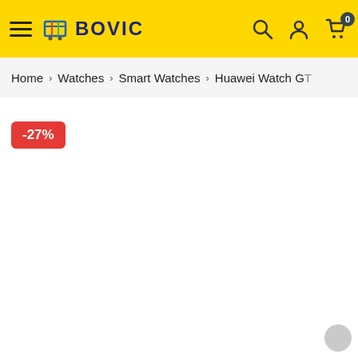BOVIC — online store header with hamburger menu, logo, search, account, and cart (0 items)
Home > Watches > Smart Watches > Huawei Watch GT
-27%